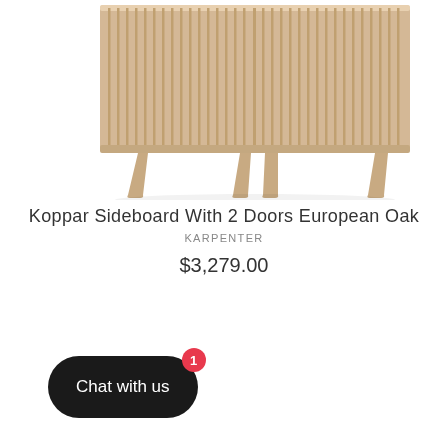[Figure (photo): Koppar Sideboard with 2 doors in European Oak finish — bottom portion of a light wood sideboard with vertical ribbed panels on the doors and tapered legs, photographed on a white background]
Koppar Sideboard With 2 Doors European Oak
KARPENTER
$3,279.00
Chat with us